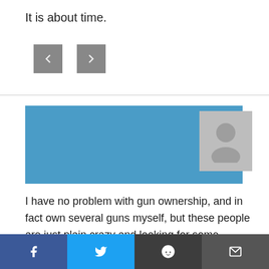It is about time.
[Figure (other): Two small square icon buttons (gray background) for navigation or sharing actions]
R
MAY 8, 2020, 2:29 PM
[Figure (other): Gray avatar/profile placeholder icon on blue background]
I have no problem with gun ownership, and in fact own several guns myself, but these people are just plain crazy and looking for some attention. And all of you extreme pro 2A militia nut jobs need to calm the f*** down. No one is taking your damn guns for Christ sake. Obama was in office 8 years and never took a single gun. Trump took your [thought it was the] [bump stocks are]
[Figure (other): Social share bar at bottom: Facebook, Twitter, Reddit, Email buttons]